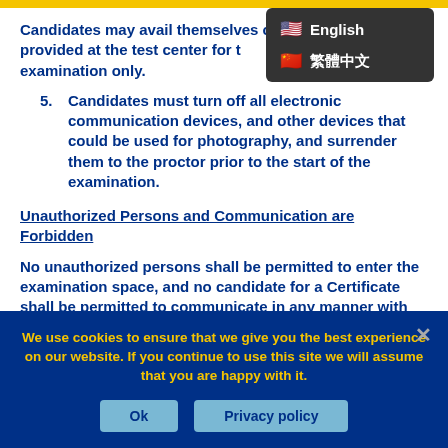Candidates may avail themselves of scratch paper provided at the test center for the examination only.
5. Candidates must turn off all electronic communication devices, and other devices that could be used for photography, and surrender them to the proctor prior to the start of the examination.
Unauthorized Persons and Communication are Forbidden
No unauthorized persons shall be permitted to enter the examination space, and no candidate for a Certificate shall be permitted to communicate in any manner with any unauthorized person(s) during the
[Figure (screenshot): Language selector dropdown showing English (US flag) and Chinese (China flag) options on dark background]
We use cookies to ensure that we give you the best experience on our website. If you continue to use this site we will assume that you are happy with it.